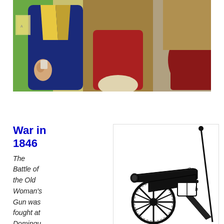[Figure (photo): Photo of people in historical costumes, showing upper bodies. One person in a blue and yellow coat, another in a tan/red coat, with a colorful green background typical of a museum or educational setting.]
War in 1846
The Battle of the Old Woman's Gun was fought at Domingu
[Figure (illustration): Black and white illustration of a historic cannon on wheels, with labels 'a' pointing to a ramrod and 'b' pointing to a powder horn or accessory attached to the cannon barrel.]